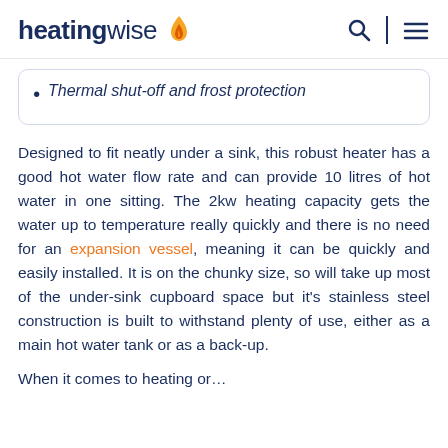heatingwise
Thermal shut-off and frost protection
Designed to fit neatly under a sink, this robust heater has a good hot water flow rate and can provide 10 litres of hot water in one sitting. The 2kw heating capacity gets the water up to temperature really quickly and there is no need for an expansion vessel, meaning it can be quickly and easily installed. It is on the chunky size, so will take up most of the under-sink cupboard space but it's stainless steel construction is built to withstand plenty of use, either as a main hot water tank or as a back-up.
When it comes to heating or…